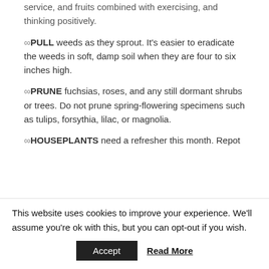service, and fruits combined with exercising, and thinking positively.
∞PULL weeds as they sprout. It's easier to eradicate the weeds in soft, damp soil when they are four to six inches high.
∞PRUNE fuchsias, roses, and any still dormant shrubs or trees. Do not prune spring-flowering specimens such as tulips, forsythia, lilac, or magnolia.
∞HOUSEPLANTS need a refresher this month. Repot
This website uses cookies to improve your experience. We'll assume you're ok with this, but you can opt-out if you wish. Accept Read More